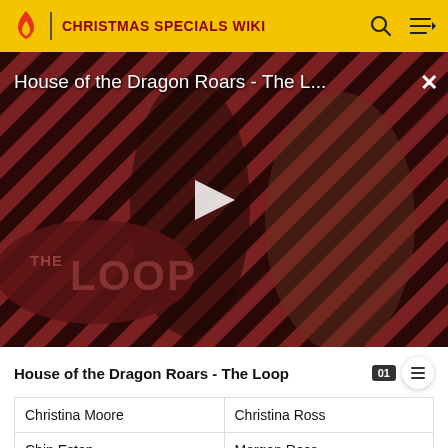CHRISTMAS SPECIALS WIKI
[Figure (screenshot): Video thumbnail showing House of the Dragon Roars - The Loop with two characters on a diagonal striped red/black background, a play button in the center, and The Loop logo in the lower left]
House of the Dragon Roars - The Loop
| Christina Moore | Christina Ross |
| Chip Esten | Morgan Ross |